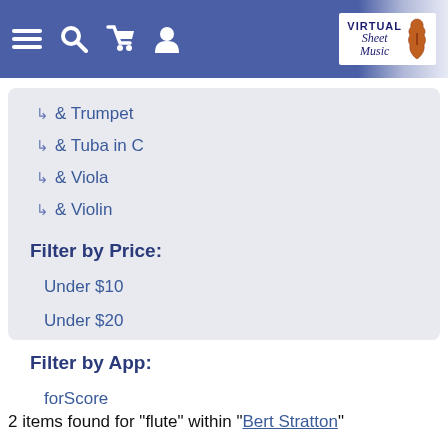Virtual Sheet Music — navigation header with menu, search, cart, user icons and logo
↳ & Trumpet
↳ & Tuba in C
↳ & Viola
↳ & Violin
Filter by Price:
Under $10
Under $20
Filter by App:
forScore
2 items found for "flute" within "Bert Stratton"